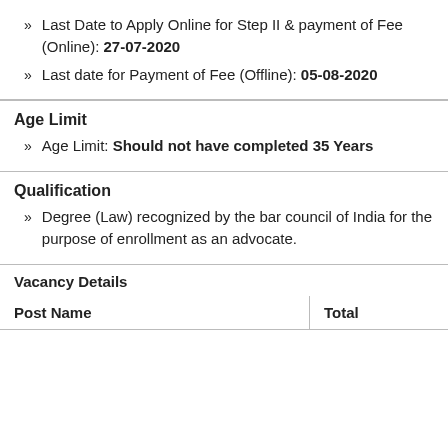Last Date to Apply Online for Step II & payment of Fee (Online): 27-07-2020
Last date for Payment of Fee (Offline): 05-08-2020
Age Limit
Age Limit: Should not have completed 35 Years
Qualification
Degree (Law) recognized by the bar council of India for the purpose of enrollment as an advocate.
Vacancy Details
| Post Name | Total |
| --- | --- |